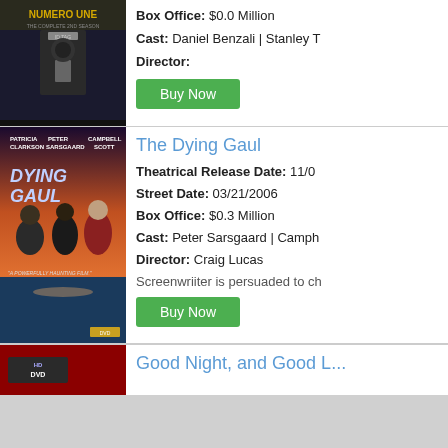[Figure (photo): Top partial movie card - dark action movie poster (partially visible)]
Box Office: $0.0 Million
Cast: Daniel Benzali | Stanley T
Director:
Buy Now
[Figure (photo): The Dying Gaul movie poster - three actors on dramatic background]
The Dying Gaul
Theatrical Release Date: 11/0
Street Date: 03/21/2006
Box Office: $0.3 Million
Cast: Peter Sarsgaard | Camph
Director: Craig Lucas
Screenwriiter is persuaded to ch
Buy Now
[Figure (photo): HD DVD logo - partial bottom card for Good Night, and Good L...]
Good Night, and Good L...